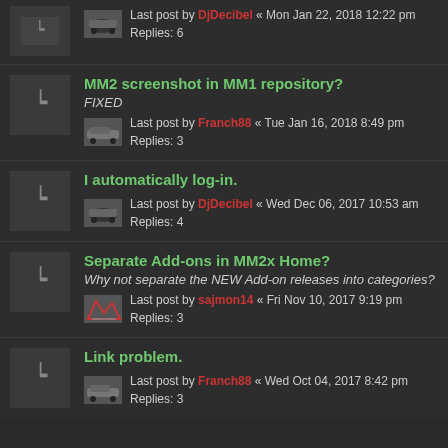Last post by DjDecibel « Mon Jan 22, 2018 12:22 pm
Replies: 6
MM2 screenshot in MM1 repository?
FIXED
Last post by Franch88 « Tue Jan 16, 2018 8:49 pm
Replies: 3
I automatically log-in.
Last post by DjDecibel « Wed Dec 06, 2017 10:53 am
Replies: 4
Separate Add-ons in MM2x Home?
Why not separate the NEW Add-on releases into categories?
Last post by sajmon14 « Fri Nov 10, 2017 9:19 pm
Replies: 3
Link problem.
Last post by Franch88 « Wed Oct 04, 2017 8:42 pm
Replies: 3